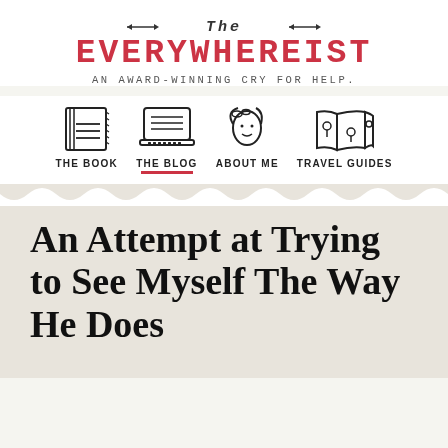The Everywhereist — An Award-Winning Cry for Help.
[Figure (logo): The Everywhereist blog logo with decorative arrow lines flanking 'THE', large red serif text 'EVERYWHEREIST', and subtitle 'AN AWARD-WINNING CRY FOR HELP.']
[Figure (infographic): Navigation icons row: hand-drawn style icons for THE BOOK (open book), THE BLOG (laptop, with red underline), ABOUT ME (woman face), TRAVEL GUIDES (folded map)]
An Attempt at Trying to See Myself The Way He Does